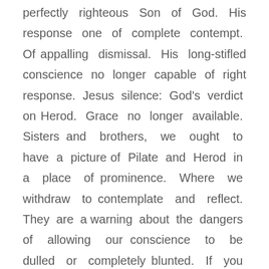perfectly righteous Son of God. His response one of complete contempt. Of appalling dismissal. His long-stifled conscience no longer capable of right response. Jesus silence: God's verdict on Herod. Grace no longer available. Sisters and brothers, we ought to have a picture of Pilate and Herod in a place of prominence. Where we withdraw to contemplate and reflect. They are a warning about the dangers of allowing our conscience to be dulled or completely blunted. If you are a Christian don't allow your conscience to be weakened by neglecting the convicting power of God's